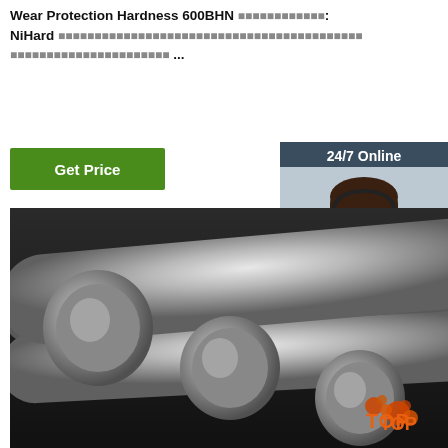Wear Protection Hardness 600BHN ████████████: NiHard ████████████████████████████████████████████ ██████████████████████ ...
[Figure (other): Green 'Get Price' button]
[Figure (other): Chat widget with 24/7 Online text, customer service photo, 'Click here for free chat!' text, and QUOTATION orange button]
[Figure (photo): Steel round bars/rods photographed on dark background, multiple cylindrical metal bars arranged together, with TOP logo watermark at bottom right]